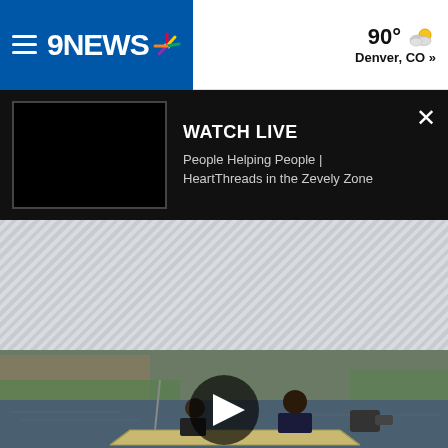9NEWS — 90° Denver, CO »
WATCH LIVE
People Helping People | HeartThreads in the Zevely Zone
[Figure (photo): Grey hatched advertisement/placeholder area]
[Figure (photo): Video thumbnail showing two people on a small boat on flooded water with a play button overlay]